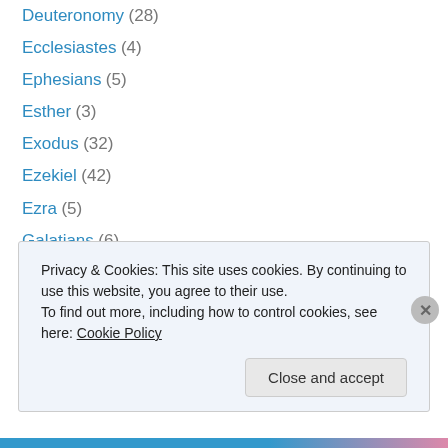Deuteronomy (28)
Ecclesiastes (4)
Ephesians (5)
Esther (3)
Exodus (32)
Ezekiel (42)
Ezra (5)
Galatians (6)
Genesis (38)
Habakkuk (1)
Haggai (1)
Hebrews (14)
Hosea (4)
Privacy & Cookies: This site uses cookies. By continuing to use this website, you agree to their use.
To find out more, including how to control cookies, see here: Cookie Policy